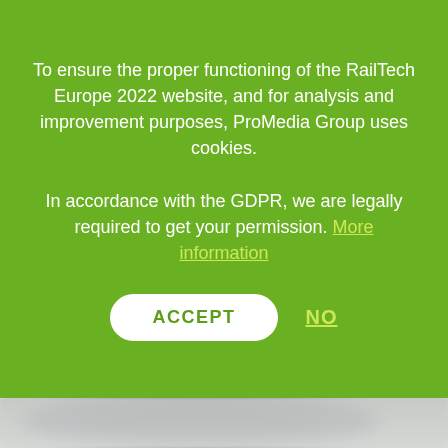To ensure the proper functioning of the RailTech Europe 2022 website, and for analysis and improvement purposes, ProMedia Group uses cookies.
In accordance with the GDPR, we are legally required to get your permission. More information
ACCEPT
NO
[Figure (screenshot): Blurred background showing a website with a dark circular graphic and text content below, partially visible beneath the cookie consent overlay.]